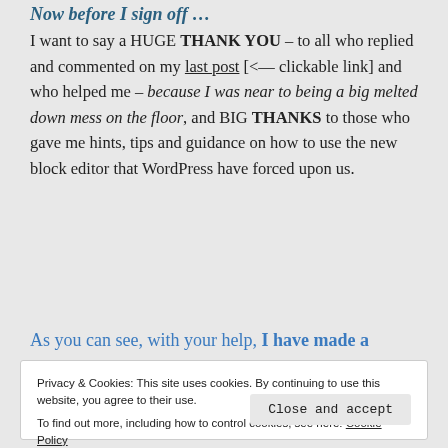Now before I sign off …
I want to say a HUGE THANK YOU – to all who replied and commented on my last post [<— clickable link] and who helped me – because I was near to being a big melted down mess on the floor, and BIG THANKS to those who gave me hints, tips and guidance on how to use the new block editor that WordPress have forced upon us.
As you can see, with your help, I have made a
Privacy & Cookies: This site uses cookies. By continuing to use this website, you agree to their use. To find out more, including how to control cookies, see here: Cookie Policy
Close and accept